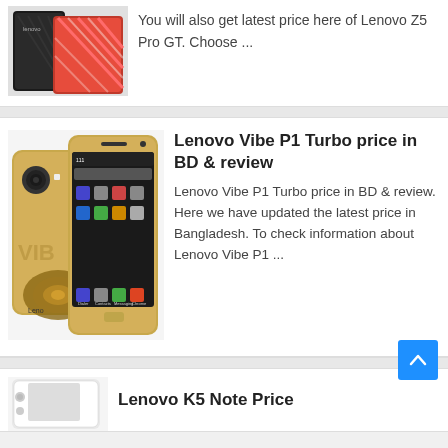[Figure (photo): Lenovo Z5 Pro GT smartphone product image showing two phones]
You will also get latest price here of Lenovo Z5 Pro GT. Choose ...
[Figure (photo): Lenovo Vibe P1 Turbo smartphone product image showing phone from front and back]
Lenovo Vibe P1 Turbo price in BD & review
Lenovo Vibe P1 Turbo price in BD & review. Here we have updated the latest price in Bangladesh. To check information about Lenovo Vibe P1 ...
[Figure (photo): Lenovo K5 Note smartphone product image]
Lenovo K5 Note Price